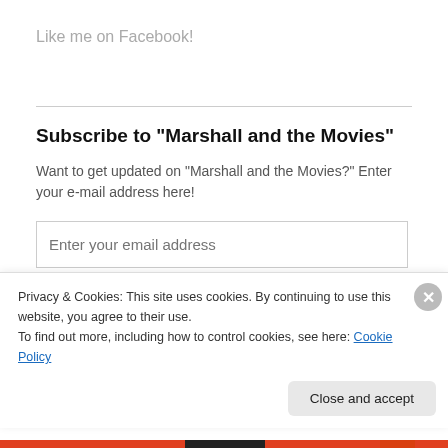Like me on Facebook!
Subscribe to "Marshall and the Movies"
Want to get updated on "Marshall and the Movies?" Enter your e-mail address here!
Enter your email address
Yes! I want updates!
Privacy & Cookies: This site uses cookies. By continuing to use this website, you agree to their use.
To find out more, including how to control cookies, see here: Cookie Policy
Close and accept